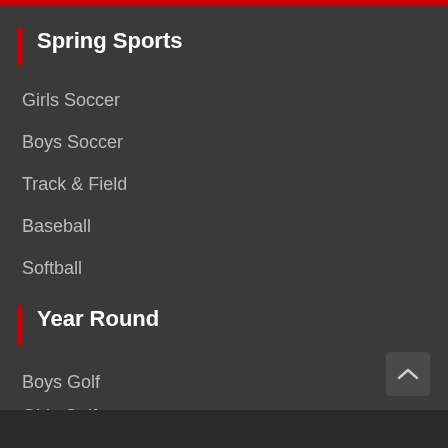Spring Sports
Girls Soccer
Boys Soccer
Track & Field
Baseball
Softball
Year Round
Boys Golf
Girls Golf
Gymnastics
Tennis